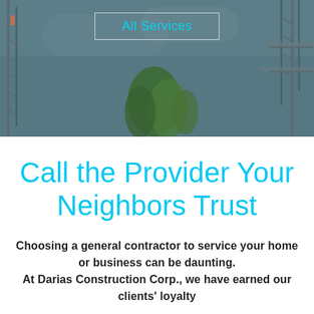[Figure (photo): Construction site with scaffolding, cranes, and trees against a blue-grey cloudy sky. Semi-transparent dark overlay on the image.]
All Services
Call the Provider Your Neighbors Trust
Choosing a general contractor to service your home or business can be daunting. At Darias Construction Corp., we have earned our clients' loyalty